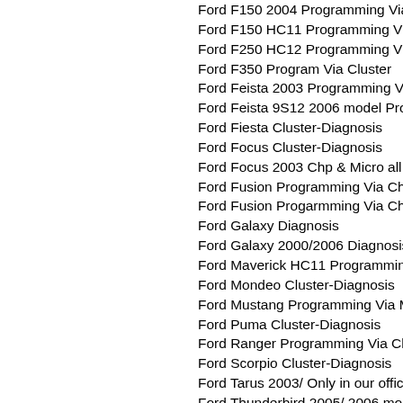Ford F150 2004 Programming Via...
Ford F150 HC11 Programming Vi...
Ford F250 HC12 Programming Vi...
Ford F350 Program Via Cluster
Ford Feista 2003 Programming Vi...
Ford Feista 9S12 2006 model Pro...
Ford Fiesta Cluster-Diagnosis
Ford Focus Cluster-Diagnosis
Ford Focus 2003 Chp & Micro all...
Ford Fusion Programming Via Ch...
Ford Fusion Progarmming Via Ch...
Ford Galaxy Diagnosis
Ford Galaxy 2000/2006 Diagnosis...
Ford Maverick HC11 Programmin...
Ford Mondeo Cluster-Diagnosis
Ford Mustang Programming Via M...
Ford Puma Cluster-Diagnosis
Ford Ranger Programming Via Cl...
Ford Scorpio Cluster-Diagnosis
Ford Tarus 2003/ Only in our offic...
Ford Thunderbird 2005/ 2006 mo...
Ford Transit 2003 Programming V...
Ford Transit 2004 Programming V...
Ford Transit Model 2003 Program...
Ford Transit TVI Chip 66 Progarm...